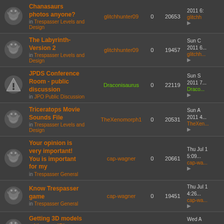| Icon | Topic | Author | Replies | Views | Last Post |
| --- | --- | --- | --- | --- | --- |
| [dino] | Chanasaurs photos anyone?
in Trespasser Levels and Design | glitchhunter09 | 0 | 20653 | 2011 6:...
glitchh... |
| [dino] | The Labyrinth-Version 2
in Trespasser Levels and Design | glitchhunter09 | 0 | 19457 | Sun C 2011 6...
glitchh... |
| [alert] | JPDS Conference Room - public discussion
in JPO Public Discussion | Draconisaurus | 0 | 22119 | Sun S 2011 7...
Draco... |
| [dino] | Triceratops Movie Sounds File
in Trespasser Levels and Design | TheXenomorph1 | 0 | 20531 | Sun A 2011 4...
TheXen... |
| [dino] | Your opinion is very important! You is important for my
in Trespasser General | cap-wagner | 0 | 20661 | Thu Jul 1 5:09...
cap-wa... |
| [dino] | Know Trespasser game
in Trespasser General | cap-wagner | 0 | 19451 | Thu Jul 1 4:26...
cap-wa... |
| [dino] | Getting 3D models with your iPhone
in Trespasser Levels and Design | TheInformer | 0 | 20434 | Wed A 2011 8...
TheInfo... |
| [dino] | Chapter 2... |  |  |  | Mon M... |